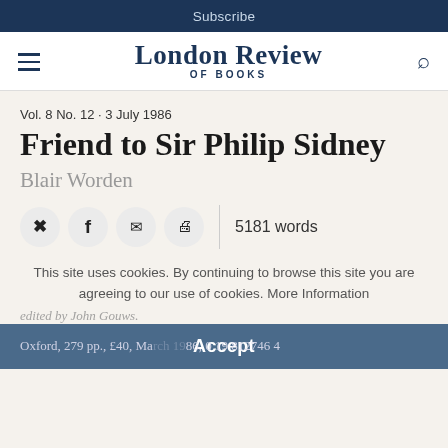Subscribe
London Review OF BOOKS
Vol. 8 No. 12 · 3 July 1986
Friend to Sir Philip Sidney
Blair Worden
5181 words
This site uses cookies. By continuing to browse this site you are agreeing to our use of cookies. More Information
edited by John Gouws.
Oxford, 279 pp., £40, March 1986, 0 19 812746 4